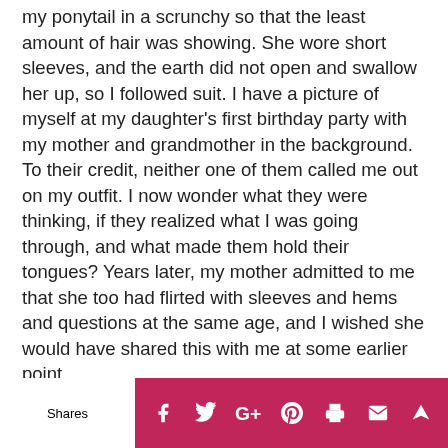my ponytail in a scrunchy so that the least amount of hair was showing. She wore short sleeves, and the earth did not open and swallow her up, so I followed suit. I have a picture of myself at my daughter's first birthday party with my mother and grandmother in the background. To their credit, neither one of them called me out on my outfit. I now wonder what they were thinking, if they realized what I was going through, and what made them hold their tongues? Years later, my mother admitted to me that she too had flirted with sleeves and hems and questions at the same age, and I wished she would have shared this with me at some earlier point.
I was blessed with two little girls. After they started school, I developed friendships with the moms of the
Shares  [social icons: Facebook, Twitter, Google+, Pinterest, Print, Email, Crown]